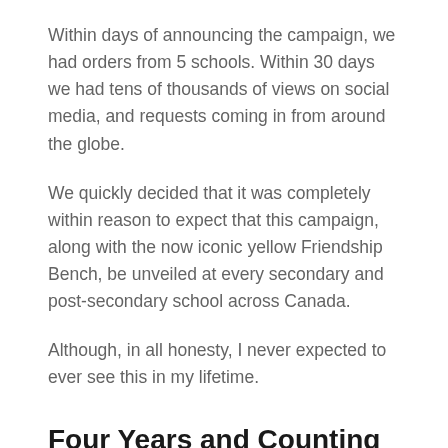Within days of announcing the campaign, we had orders from 5 schools. Within 30 days we had tens of thousands of views on social media, and requests coming in from around the globe.
We quickly decided that it was completely within reason to expect that this campaign, along with the now iconic yellow Friendship Bench, be unveiled at every secondary and post-secondary school across Canada.
Although, in all honesty, I never expected to ever see this in my lifetime.
Four Years and Counting –